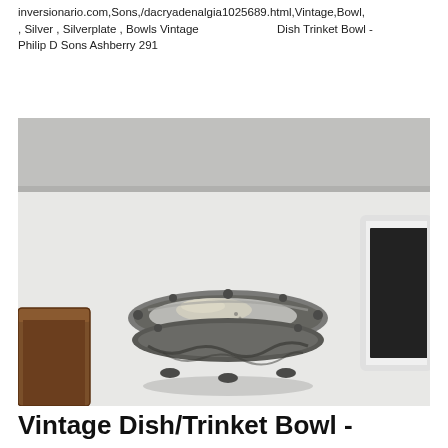inversionario.com,Sons,/dacryadenalgia1025689.html,Vintage,Bowl, , Silver , Silverplate , Bowls Vintage 　　　　　　 Dish Trinket Bowl - Philip D Sons Ashberry 291
[Figure (photo): A vintage silverplate trinket/dish bowl with ornate decorative rim and small feet, sitting on a white surface. A wooden block is visible on the left and a white-framed picture frame is on the right.]
Vintage Dish/Trinket Bowl -